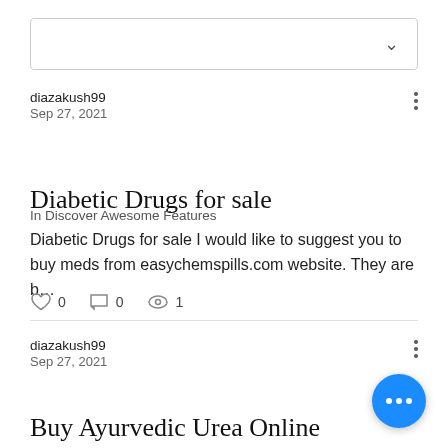[Figure (screenshot): Dropdown/filter bar with chevron down arrow on the right side]
diazakush99
Sep 27, 2021
Diabetic Drugs for sale
In Discover Awesome Features
Diabetic Drugs for sale I would like to suggest you to buy meds from easychemspills.com website. They are b…
0  0  1
diazakush99
Sep 27, 2021
Buy Ayurvedic Urea Online